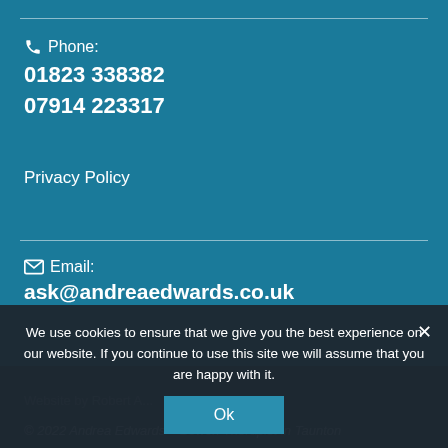Phone: 01823 338382 07914 223317
Privacy Policy
Email: ask@andreaedwards.co.uk
Website by Robert A...
© 2022 Andrea Edwards – Bowen Therapist in Taunton
We use cookies to ensure that we give you the best experience on our website. If you continue to use this site we will assume that you are happy with it.